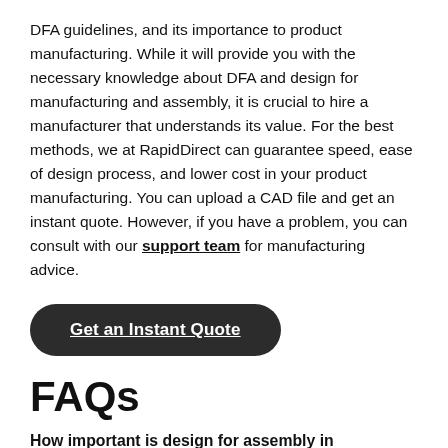DFA guidelines, and its importance to product manufacturing. While it will provide you with the necessary knowledge about DFA and design for manufacturing and assembly, it is crucial to hire a manufacturer that understands its value. For the best methods, we at RapidDirect can guarantee speed, ease of design process, and lower cost in your product manufacturing. You can upload a CAD file and get an instant quote. However, if you have a problem, you can consult with our support team for manufacturing advice.
[Figure (other): Dark rounded button with text 'Get an Instant Quote' (underlined, white text on dark background)]
FAQs
How important is design for assembly in production processes?